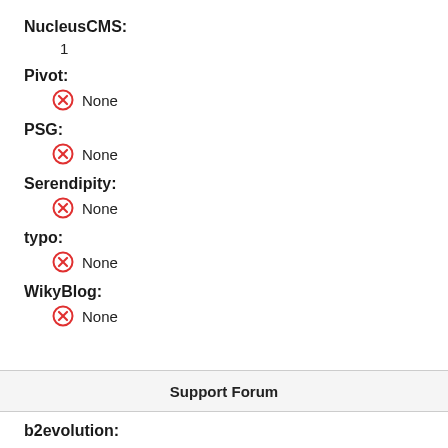NucleusCMS:
1
Pivot:
None
PSG:
None
Serendipity:
None
typo:
None
WikyBlog:
None
Support Forum
b2evolution: